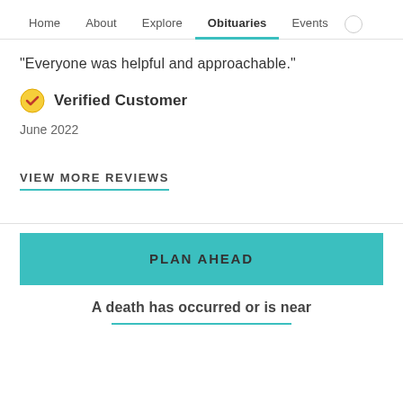Home   About   Explore   Obituaries   Events
"Everyone was helpful and approachable."
✔ Verified Customer
June 2022
VIEW MORE REVIEWS
PLAN AHEAD
A death has occurred or is near